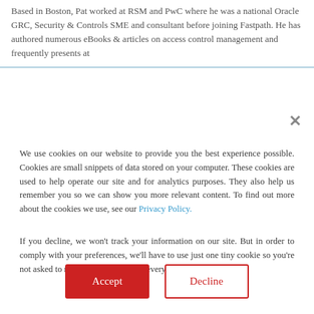Based in Boston, Pat worked at RSM and PwC where he was a national Oracle GRC, Security & Controls SME and consultant before joining Fastpath. He has authored numerous eBooks & articles on access control management and frequently presents at
[Figure (screenshot): Close (X) button for modal dialog]
We use cookies on our website to provide you the best experience possible. Cookies are small snippets of data stored on your computer. These cookies are used to help operate our site and for analytics purposes. They also help us remember you so we can show you more relevant content. To find out more about the cookies we use, see our Privacy Policy.
If you decline, we won't track your information on our site. But in order to comply with your preferences, we'll have to use just one tiny cookie so you're not asked to make this choice again every time you visit our site.
Accept
Decline